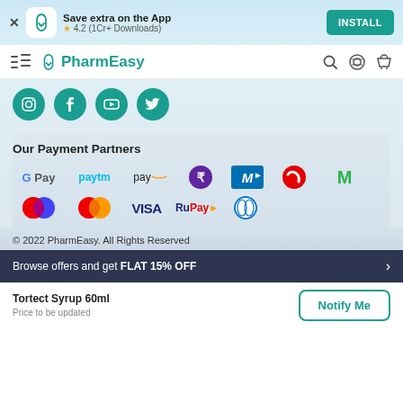Save extra on the App
★ 4.2 (1Cr+ Downloads)
INSTALL
PharmEasy
[Figure (logo): Social media icons: Instagram, Facebook, YouTube, Twitter — teal circular icons]
Our Payment Partners
[Figure (logo): Payment partner logos: G Pay, Paytm, Amazon Pay, PhonePe, MOBIKWIK, Airtel, Mobikwik M, Maestro, Mastercard, VISA, RuPay, Diners Club]
© 2022 PharmEasy. All Rights Reserved
Browse offers and get FLAT 15% OFF
Tortect Syrup 60ml
Price to be updated
Notify Me